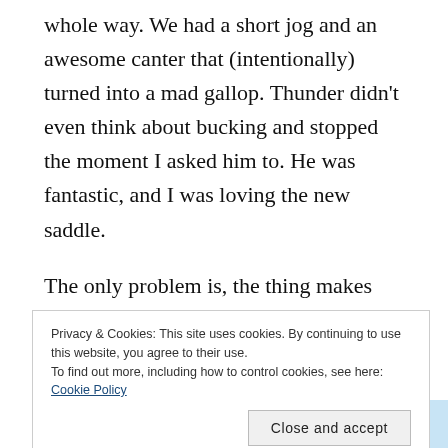whole way. We had a short jog and an awesome canter that (intentionally) turned into a mad gallop. Thunder didn't even think about bucking and stopped the moment I asked him to. He was fantastic, and I was loving the new saddle.
The only problem is, the thing makes more noise than an asthmatic elephant. Its new leather groans and squeaks so loudly with every stride that I could barely hear the Mutterer talking. Perhaps that's why Thunder
Privacy & Cookies: This site uses cookies. By continuing to use this website, you agree to their use.
To find out more, including how to control cookies, see here: Cookie Policy
Close and accept
enjoy